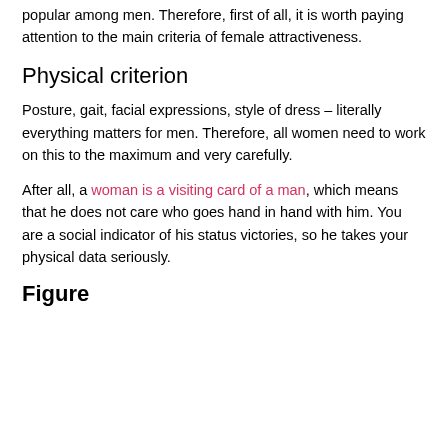popular among men. Therefore, first of all, it is worth paying attention to the main criteria of female attractiveness.
Physical criterion
Posture, gait, facial expressions, style of dress – literally everything matters for men. Therefore, all women need to work on this to the maximum and very carefully.
After all, a woman is a visiting card of a man, which means that he does not care who goes hand in hand with him. You are a social indicator of his status victories, so he takes your physical data seriously.
Figure